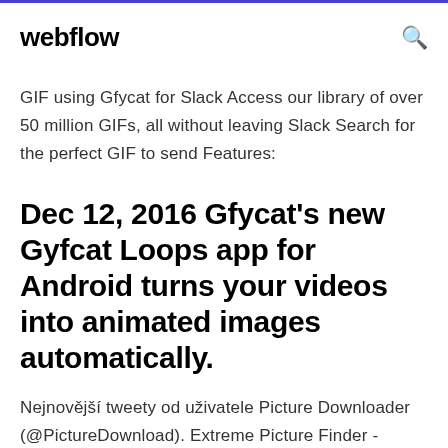webflow
GIF using Gfycat for Slack Access our library of over 50 million GIFs, all without leaving Slack Search for the perfect GIF to send Features:
Dec 12, 2016 Gfycat's new Gyfcat Loops app for Android turns your videos into animated images automatically.
Nejnovější tweety od uživatele Picture Downloader (@PictureDownload). Extreme Picture Finder - powerful batch image downloader. Download all images from any